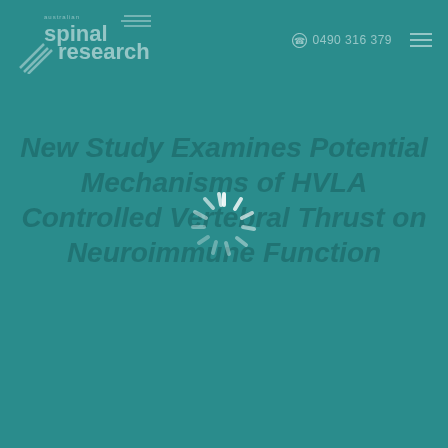Australian Spinal Research · 0490 316 379
New Study Examines Potential Mechanisms of HVLA Controlled Vertebral Thrust on Neuroimmune Function
[Figure (illustration): Loading spinner overlay in center of page]